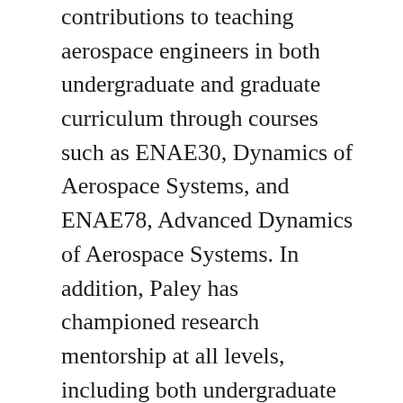contributions to teaching aerospace engineers in both undergraduate and graduate curriculum through courses such as ENAE30, Dynamics of Aerospace Systems, and ENAE78, Advanced Dynamics of Aerospace Systems. In addition, Paley has championed research mentorship at all levels, including both undergraduate and graduate research. He has also demonstrated a unique ability to engage students through discussion, demonstrations and interactive analysis.
This award is further acknowledgement of Paley's commitment to education and mentorship. Earlier this year, he received the A. James Clark School of Engineering's Willis H. Young Jr. Faculty Fellowship for outstanding contributions to aerospace engineering instruction and education at both the